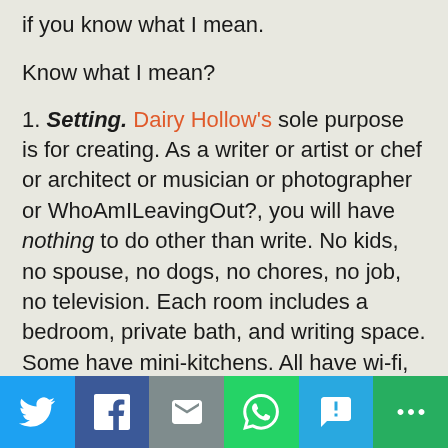if you know what I mean.
Know what I mean?
1. Setting. Dairy Hollow's sole purpose is for creating. As a writer or artist or chef or architect or musician or photographer or WhoAmILeavingOut?, you will have nothing to do other than write. No kids, no spouse, no dogs, no chores, no job, no television. Each room includes a bedroom, private bath, and writing space. Some have mini-kitchens. All have wi-fi, coffee pots and wooded views. What more, pray tell, could one possibly need?
[Figure (infographic): Social sharing buttons bar at the bottom: Twitter (blue), Facebook (dark blue), Email (gray), WhatsApp (green), SMS (light blue), More (dark green)]